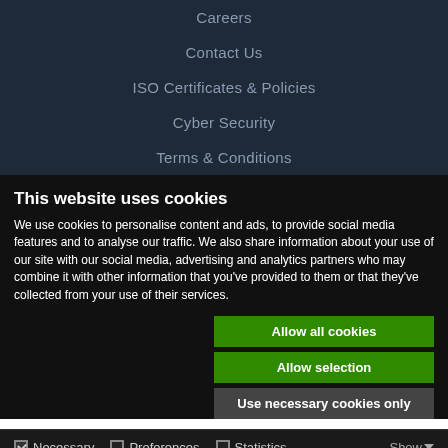Careers
Contact Us
ISO Certificates & Policies
Cyber Security
Terms & Conditions
This website uses cookies
We use cookies to personalise content and ads, to provide social media features and to analyse our traffic. We also share information about your use of our site with our social media, advertising and analytics partners who may combine it with other information that you've provided to them or that they've collected from your use of their services.
Allow all cookies
Allow selection
Use necessary cookies only
Necessary   Preferences   Statistics   Marketing   Show details